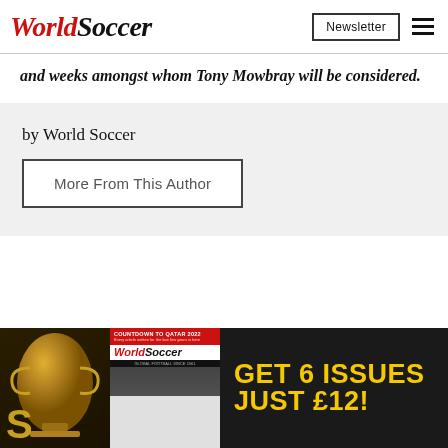WorldSoccer | Newsletter
and weeks amongst whom Tony Mowbray will be considered.
by World Soccer
More From This Author
[Figure (infographic): World Soccer magazine advertisement - GET 6 ISSUES JUST £12!]